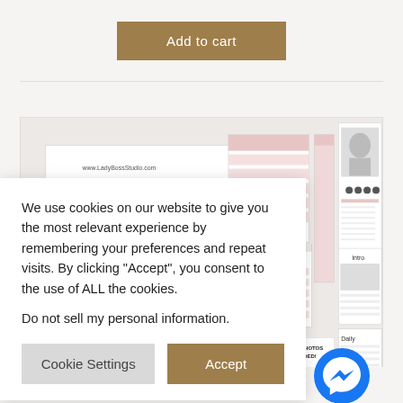Add to cart
[Figure (screenshot): Product preview showing multiple document/template pages with pink and white design, including text www.LadyBossStudio.com, sections labeled Intro, sheet #3, Daily, and a STOCK PHOTOS INCLUDED! badge]
We use cookies on our website to give you the most relevant experience by remembering your preferences and repeat visits. By clicking "Accept", you consent to the use of ALL the cookies.
Do not sell my personal information.
Cookie Settings
Accept
s | Can
& InDesign